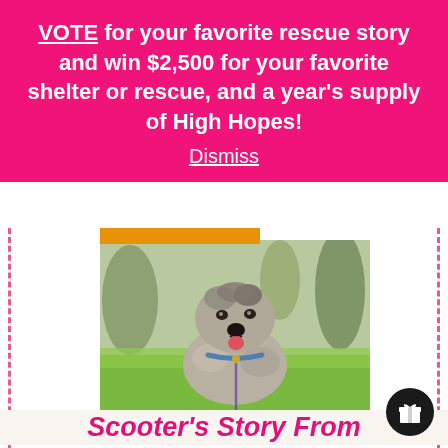VOTE for your favorite rescue story and win $2,500 for your favorite shelter or rescue, and a year's supply of High Hopes! Dismiss
[Figure (photo): A scruffy grey and brown terrier mix dog sitting on green grass outdoors, wearing a blue collar with a leash, mouth open and tongue out, trees in background.]
Scooter's Story From